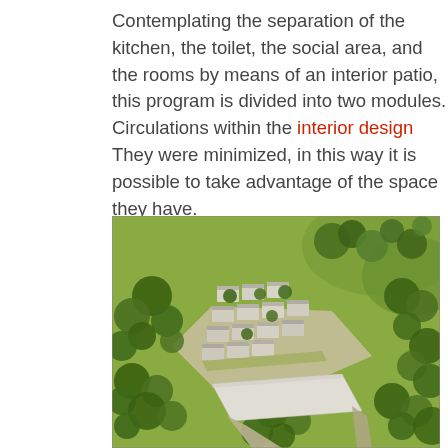Contemplating the separation of the kitchen, the toilet, the social area, and the rooms by means of an interior patio, this program is divided into two modules. Circulations within the interior design They were minimized, in this way it is possible to take advantage of the space they have.
[Figure (illustration): Aerial perspective rendering of a residential housing development with multiple low-rise dwelling units arranged in a grid pattern, surrounded by trees and vegetation, with a large flat white roof structure in the foreground.]